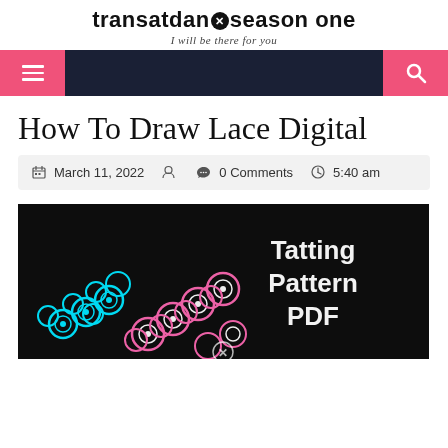transatdan×season one — I will be there for you
[Figure (screenshot): Dark navy navigation bar with pink hamburger menu button on left and pink search button on right]
How To Draw Lace Digital
March 11, 2022   0 Comments   5:40 am
[Figure (photo): Dark background with tatting lace patterns in cyan/blue and pink/white arranged diagonally, with text 'Tatting Pattern PDF' on the right side]